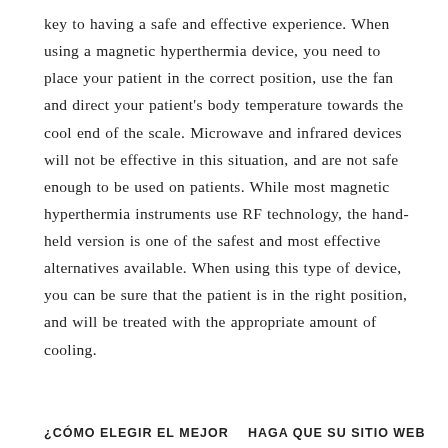key to having a safe and effective experience. When using a magnetic hyperthermia device, you need to place your patient in the correct position, use the fan and direct your patient's body temperature towards the cool end of the scale. Microwave and infrared devices will not be effective in this situation, and are not safe enough to be used on patients. While most magnetic hyperthermia instruments use RF technology, the hand-held version is one of the safest and most effective alternatives available. When using this type of device, you can be sure that the patient is in the right position, and will be treated with the appropriate amount of cooling.
¿CÓMO ELEGIR EL MEJOR    HAGA QUE SU SITIO WEB